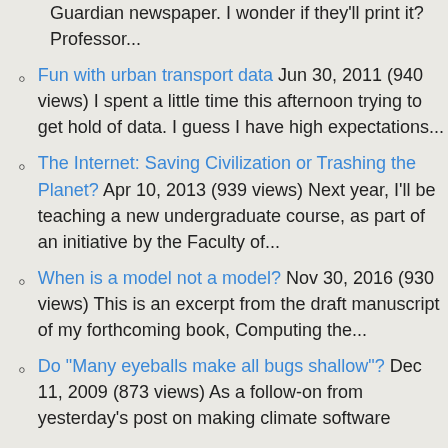Guardian newspaper. I wonder if they'll print it? Professor...
Fun with urban transport data Jun 30, 2011 (940 views) I spent a little time this afternoon trying to get hold of data. I guess I have high expectations...
The Internet: Saving Civilization or Trashing the Planet? Apr 10, 2013 (939 views) Next year, I'll be teaching a new undergraduate course, as part of an initiative by the Faculty of...
When is a model not a model? Nov 30, 2016 (930 views) This is an excerpt from the draft manuscript of my forthcoming book, Computing the...
Do "Many eyeballs make all bugs shallow"? Dec 11, 2009 (873 views) As a follow-on from yesterday's post on making climate software